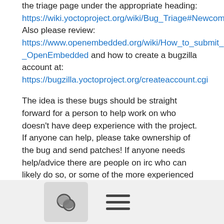the triage page under the appropriate heading: https://wiki.yoctoproject.org/wiki/Bug_Triage#Newcomer_Bugs Also please review: https://www.openembedded.org/wiki/How_to_submit_a_patch_to_OpenEmbedded and how to create a bugzilla account at: https://bugzilla.yoctoproject.org/createaccount.cgi
The idea is these bugs should be straight forward for a person to help work on who doesn't have deep experience with the project. If anyone can help, please take ownership of the bug and send patches!  If anyone needs help/advice there are people on irc who can likely do so, or some of the more experienced contributors will likely be happy to help too.
Also, the triage team meets weekly and does its best to handle the bugs reported into the Bugzilla. The number of people attending that meeting has fallen, as have the number of people available to help fix bugs. One of the things we hear users report is they don't know how to help. We (the triage team) are therefore going to start reporting out the currently 398 unassigned or
[Figure (other): Bottom navigation bar with a comment/chat button icon and a hamburger menu icon]